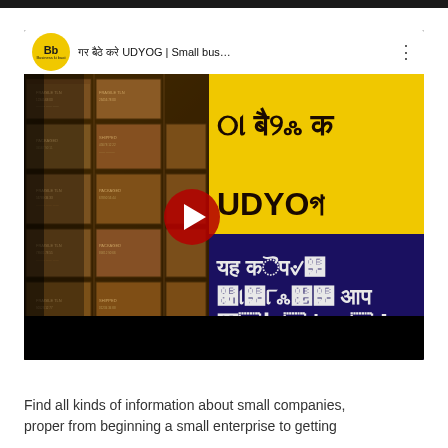[Figure (screenshot): YouTube video thumbnail screenshot showing a video titled 'घर बैठे करे UDYOG | Small bus...' from channel 'Business ki baat' (Bb). Left side shows stacked cardboard boxes. Right side has yellow background with Hindi text 'घर बैठे करे' and 'UDYOG', and dark blue background with Hindi text 'यह कंपनी खरीदेगी आप सारा माल'. A red YouTube play button is visible in the center.]
Find all kinds of information about small companies, proper from beginning a small enterprise to getting...